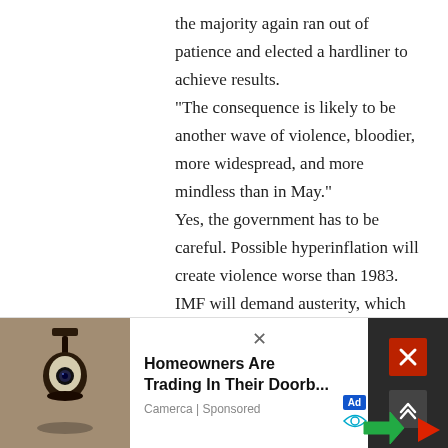the majority again ran out of patience and elected a hardliner to achieve results. “The consequence is likely to be another wave of violence, bloodier, more widespread, and more mindless than in May.” Yes, the government has to be careful. Possible hyperinflation will create violence worse than 1983. IMF will demand austerity, which includes major cuts to government spending, but the government should not abandon its generous welfare programs to the poor all at once. “The pandemic hit this sector the hardest.” The pandemic and Easter Attacks decimated
[Figure (screenshot): Advertisement banner showing a home security camera light fixture product ad. Left side shows a photo of a wall-mounted light with camera. Text reads 'Homeowners Are Trading In Their Doorb...' from 'Camerca | Sponsored'. Right side has dark panel with X button and up-arrow button.]